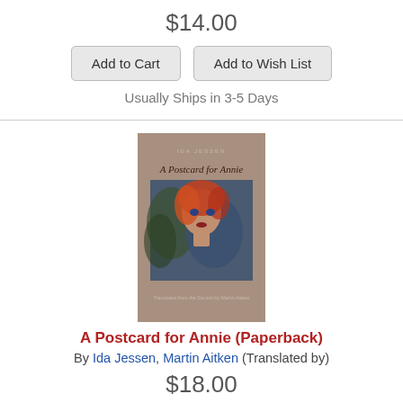$14.00
Add to Cart | Add to Wish List
Usually Ships in 3-5 Days
[Figure (illustration): Book cover of 'A Postcard for Annie' by Ida Jessen, featuring a painting of a woman with orange/red hair on a taupe background]
A Postcard for Annie (Paperback)
By Ida Jessen, Martin Aitken (Translated by)
$18.00
Add to Cart | Add to Wish List
Usually Ships in 3-5 Days